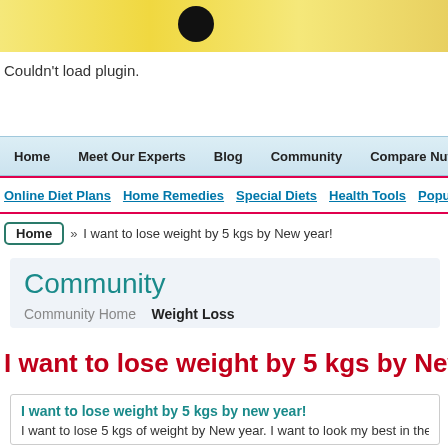[Figure (other): Website banner with yellow/gold gradient background and dark circle silhouette]
Couldn't load plugin.
Home | Meet Our Experts | Blog | Community | Compare Nutrition Fa...
Online Diet Plans | Home Remedies | Special Diets | Health Tools | Popu...
Home » I want to lose weight by 5 kgs by New year!
Community
Community Home   Weight Loss
I want to lose weight by 5 kgs by New ye...
I want to lose weight by 5 kgs by new year!
I want to lose 5 kgs of weight by New year. I want to look my best in the party...